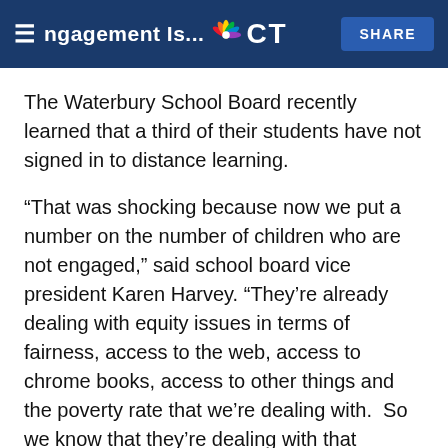Engagement Is... CT | SHARE
The Waterbury School Board recently learned that a third of their students have not signed in to distance learning.
“That was shocking because now we put a number on the number of children who are not engaged,” said school board vice president Karen Harvey. “They’re already dealing with equity issues in terms of fairness, access to the web, access to chrome books, access to other things and the poverty rate that we’re dealing with.  So we know that they’re dealing with that already, so to add that they’re not being educated is alarming.”
Harvey said she’s making it her mission to see that the district connects with those students before the school year ends.